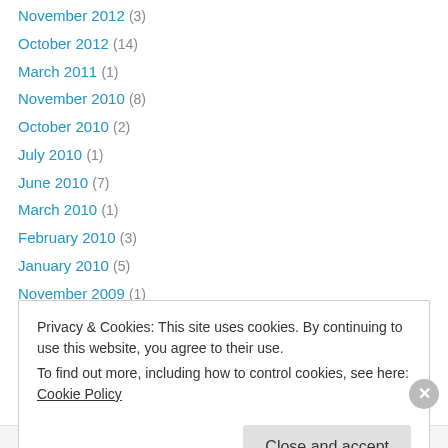November 2012 (3)
October 2012 (14)
March 2011 (1)
November 2010 (8)
October 2010 (2)
July 2010 (1)
June 2010 (7)
March 2010 (1)
February 2010 (3)
January 2010 (5)
November 2009 (1)
August 2009 (1)
July 2009 (3)
Privacy & Cookies: This site uses cookies. By continuing to use this website, you agree to their use. To find out more, including how to control cookies, see here: Cookie Policy
Close and accept